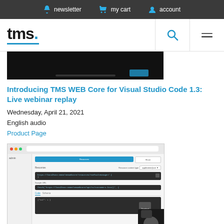newsletter  my cart  account
[Figure (logo): TMS logo with blue dot and blue underline]
[Figure (screenshot): Dark video thumbnail screenshot at top]
Introducing TMS WEB Core for Visual Studio Code 1.3: Live webinar replay
Wednesday, April 21, 2021
English audio
Product Page
[Figure (screenshot): Screenshot of TMS WEB Core interface in a web browser showing API testing UI with dark code editor sections and a presenter in the bottom right corner]